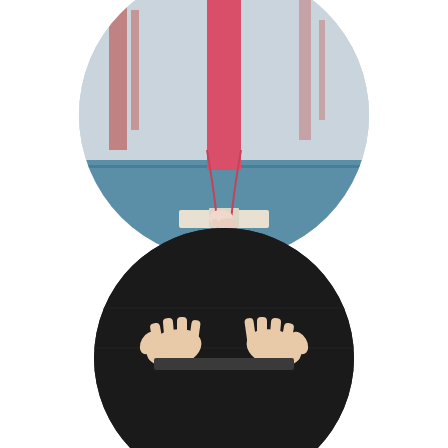[Figure (photo): Circular cropped photo of a gymnast in red leggings balancing on a balance beam, shot from behind/below, with a gymnasium background in muted blue-grey tones.]
Grace Brown
2020 JO 1 Competitor
~
[Figure (photo): Circular cropped photo showing a gymnast's hands on a dark mat or bar surface, viewed from above.]